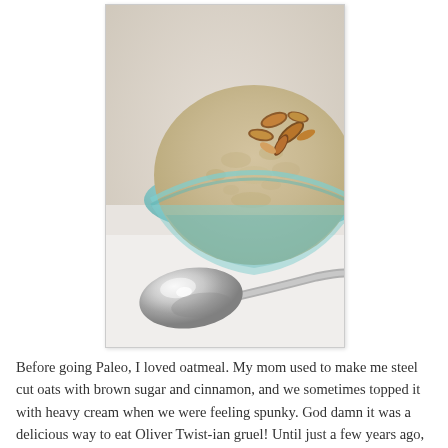[Figure (photo): A glass bowl filled with creamy oatmeal porridge topped with chopped almonds, with a silver spoon resting in front on a white surface.]
Before going Paleo, I loved oatmeal. My mom used to make me steel cut oats with brown sugar and cinnamon, and we sometimes topped it with heavy cream when we were feeling spunky. God damn it was a delicious way to eat Oliver Twist-ian gruel! Until just a few years ago, I continued to eat